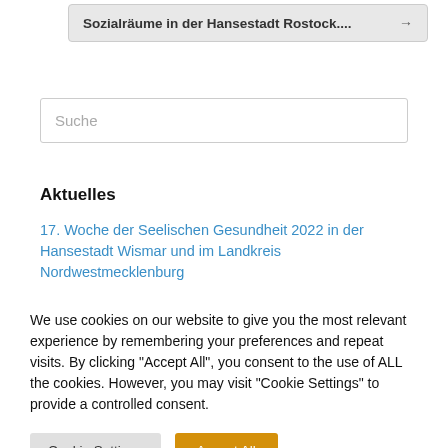Sozialräume in der Hansestadt Rostock.... →
Suche
Aktuelles
17. Woche der Seelischen Gesundheit 2022 in der Hansestadt Wismar und im Landkreis Nordwestmecklenburg
We use cookies on our website to give you the most relevant experience by remembering your preferences and repeat visits. By clicking "Accept All", you consent to the use of ALL the cookies. However, you may visit "Cookie Settings" to provide a controlled consent.
Cookie Settings
Accept All